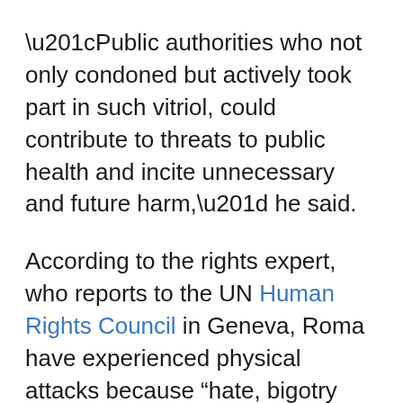“Public authorities who not only condoned but actively took part in such vitriol, could contribute to threats to public health and incite unnecessary and future harm,” he said.
According to the rights expert, who reports to the UN Human Rights Council in Geneva, Roma have experienced physical attacks because “hate, bigotry and intolerance towards minorities has become almost normalised, and even politicised, in some countries”.
In his 2020 report on hate speech, social media and minorities, Mr. de Varennes warned that Europe has seen incidents